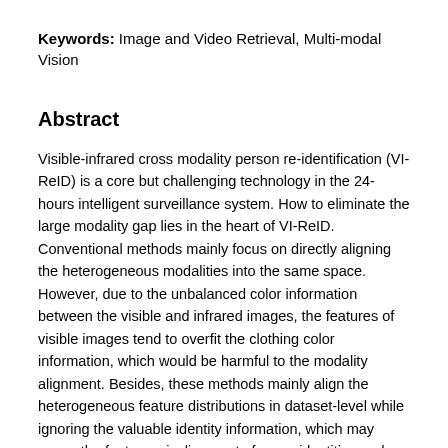Keywords: Image and Video Retrieval, Multi-modal Vision
Abstract
Visible-infrared cross modality person re-identification (VI-ReID) is a core but challenging technology in the 24-hours intelligent surveillance system. How to eliminate the large modality gap lies in the heart of VI-ReID. Conventional methods mainly focus on directly aligning the heterogeneous modalities into the same space. However, due to the unbalanced color information between the visible and infrared images, the features of visible images tend to overfit the clothing color information, which would be harmful to the modality alignment. Besides, these methods mainly align the heterogeneous feature distributions in dataset-level while ignoring the valuable identity information, which may cause the feature misalignment of some identities and weaken the discrimination of features. To tackle above problems, we propose a novel approach for VI-ReID. It learns the color-irrelevant features through the color-irrelevant consistency